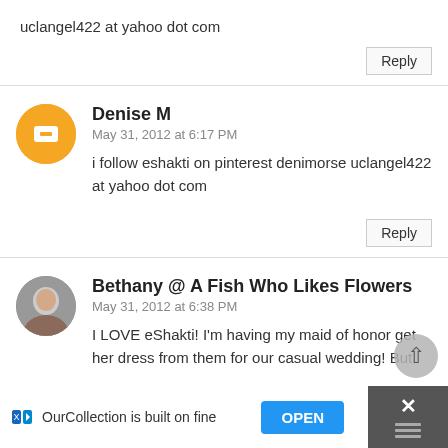uclangel422 at yahoo dot com
Reply
Denise M
May 31, 2012 at 6:17 PM
i follow eshakti on pinterest denimorse uclangel422 at yahoo dot com
Reply
Bethany @ A Fish Who Likes Flowers
May 31, 2012 at 6:38 PM
I LOVE eShakti! I'm having my maid of honor get her dress from them for our casual wedding! But
OurCollection is built on fine
OPEN